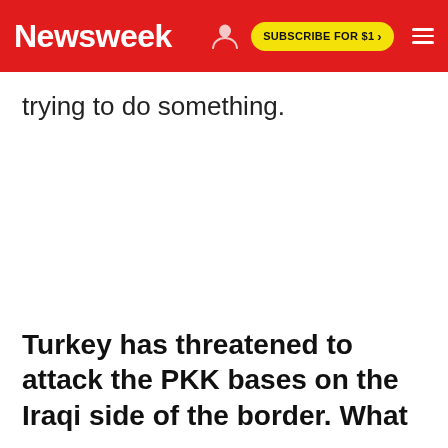Newsweek | SUBSCRIBE FOR $1 >
trying to do something.
Turkey has threatened to attack the PKK bases on the Iraqi side of the border. What